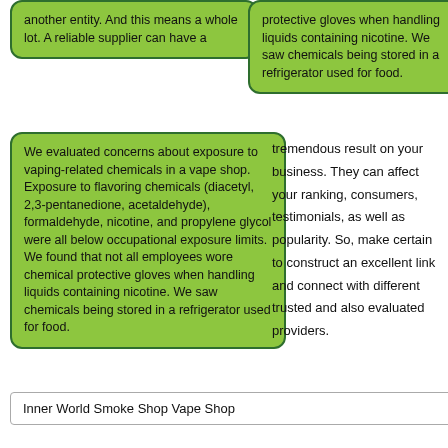another entity. And this means a whole lot. A reliable supplier can have a
protective gloves when handling liquids containing nicotine. We saw chemicals being stored in a refrigerator used for food.
We evaluated concerns about exposure to vaping-related chemicals in a vape shop. Exposure to flavoring chemicals (diacetyl, 2,3-pentanedione, acetaldehyde), formaldehyde, nicotine, and propylene glycol were all below occupational exposure limits. We found that not all employees wore chemical protective gloves when handling liquids containing nicotine. We saw chemicals being stored in a refrigerator used for food.
tremendous result on your business. They can affect your ranking, consumers, testimonials, as well as popularity. So, make certain to construct an excellent link and connect with different trusted and also evaluated providers.
Inner World Smoke Shop Vape Shop